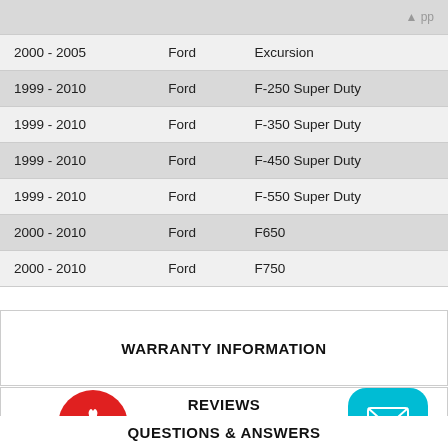| Year | Make | Model |
| --- | --- | --- |
| 2000 - 2005 | Ford | Excursion |
| 1999 - 2010 | Ford | F-250 Super Duty |
| 1999 - 2010 | Ford | F-350 Super Duty |
| 1999 - 2010 | Ford | F-450 Super Duty |
| 1999 - 2010 | Ford | F-550 Super Duty |
| 2000 - 2010 | Ford | F650 |
| 2000 - 2010 | Ford | F750 |
WARRANTY INFORMATION
REVIEWS
[Figure (illustration): Red circular gift/reward button icon with white gift box symbol]
[Figure (illustration): Teal/cyan rounded square email button icon with white envelope symbol]
QUESTIONS & ANSWERS